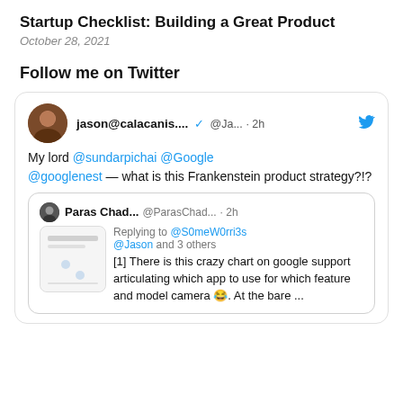Startup Checklist: Building a Great Product
October 28, 2021
Follow me on Twitter
[Figure (screenshot): Embedded tweet by jason@calacanis... (@Ja...) 2h: 'My lord @sundarpichai @Google @googlenest — what is this Frankenstein product strategy?!?' with nested reply by Paras Chad... (@ParasChad... · 2h): 'Replying to @S0meW0rri3s @Jason and 3 others [1] There is this crazy chart on google support articulating which app to use for which feature and model camera 😂. At the bare ...']